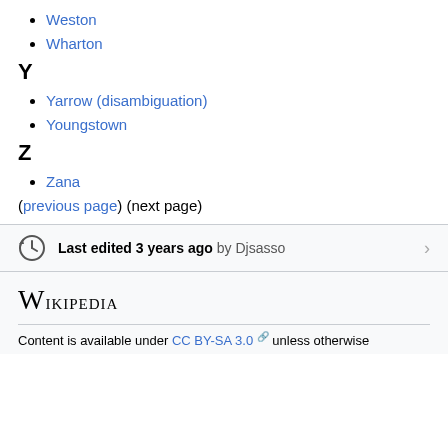Weston
Wharton
Y
Yarrow (disambiguation)
Youngstown
Z
Zana
(previous page) (next page)
Last edited 3 years ago by Djsasso
Wikipedia
Content is available under CC BY-SA 3.0 unless otherwise